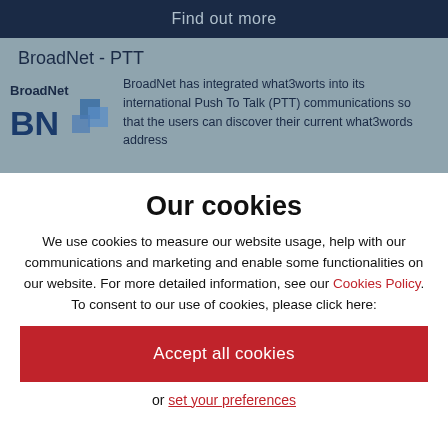Find out more
BroadNet - PTT
BroadNet has integrated what3worts into its international Push To Talk (PTT) communications so that the users can discover their current what3words address
Our cookies
We use cookies to measure our website usage, help with our communications and marketing and enable some functionalities on our website. For more detailed information, see our Cookies Policy. To consent to our use of cookies, please click here:
Accept all cookies
or set your preferences